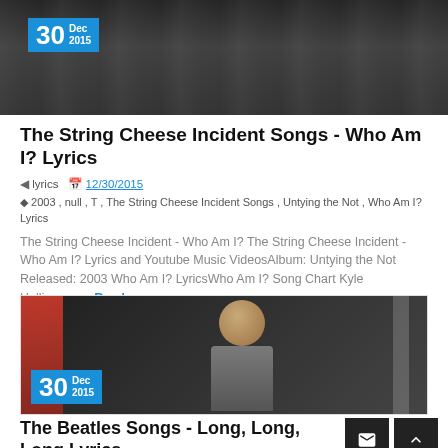[Figure (photo): Dark crowd photo with date badge showing 30 Dec 2015 in blue]
The String Cheese Incident Songs - Who Am I? Lyrics
lyrics  12/30/2015
2003 , null , T , The String Cheese Incident Songs , Untying the Not , Who Am I? Lyrics
The String Cheese Incident - Who Am I? The String Cheese Incident - Who Am I? Lyrics and Youtube Music VideosAlbum: Untying the Not Released: 2003 Who Am I? LyricsWho Am I? Song Chart Kyle Hollingswo... Read more »
[Figure (photo): Black and white photo of young man in suit with date badge showing 30 Dec 2015 in blue, red background element]
The Beatles Songs - Long, Long, Long Lyrics
lyrics  12/30/2015
1968 , Long, Long Lyrics , T , The Beatles Songs , The White Album